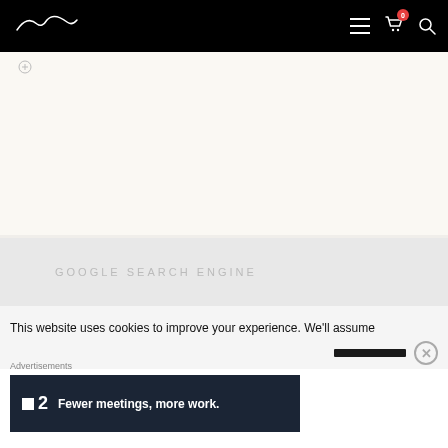Navigation bar with logo and icons (menu, cart with badge 0, search)
[Figure (screenshot): Main website content area with off-white/cream background and small icon at top]
GOOGLE SEARCH ENGINE
This website uses cookies to improve your experience. We'll assume
Advertisements
[Figure (screenshot): Advertisement banner: P2 logo - Fewer meetings, more work.]